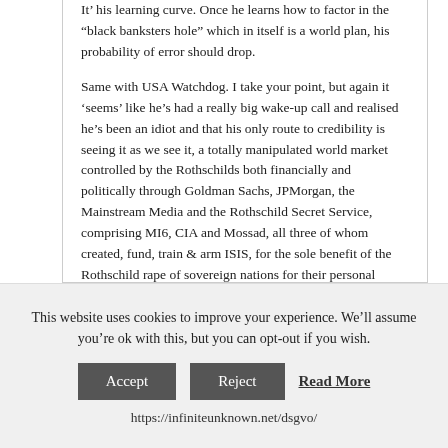It' his learning curve. Once he learns how to factor in the “black banksters hole” which in itself is a world plan, his probability of error should drop.
Same with USA Watchdog. I take your point, but again it ‘seems’ like he’s had a really big wake-up call and realised he’s been an idiot and that his only route to credibility is seeing it as we see it, a totally manipulated world market controlled by the Rothschilds both financially and politically through Goldman Sachs, JPMorgan, the Mainstream Media and the Rothschild Secret Service, comprising MI6, CIA and Mossad, all three of whom created, fund, train & arm ISIS, for the sole benefit of the Rothschild rape of sovereign nations for their personal control and gain at everyone else’s expense.
This website uses cookies to improve your experience. We’ll assume you’re ok with this, but you can opt-out if you wish.
Accept  Reject  Read More
https://infiniteunknown.net/dsgvo/